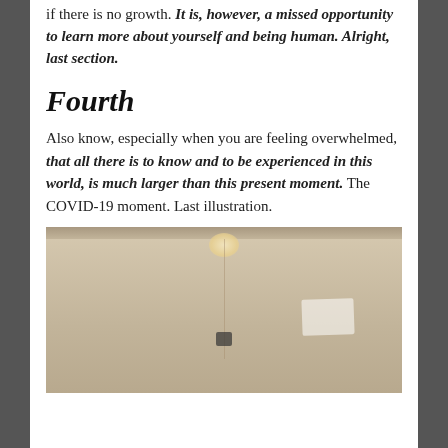if there is no growth. It is, however, a missed opportunity to learn more about yourself and being human. Alright, last section.
Fourth
Also know, especially when you are feeling overwhelmed, that all there is to know and to be experienced in this world, is much larger than this present moment. The COVID-19 moment. Last illustration.
[Figure (photo): A photograph of what appears to be a white/beige cabinet or refrigerator door with a light source at the top center, a vertical panel line, a white paper or label on the right side, and a small dark object near the center.]